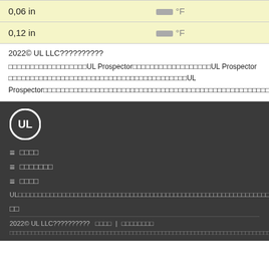|  |  |
| --- | --- |
| 0,06 in | ██ °F |
| 0,12 in | ██ °F |
2022© UL LLC??????????
□□□□□□□□□□□□□□□□□□UL Prospector□□□□□□□□□□□□□□□□□□UL Prospector □□□□□□□□□□□□□□□□□□□□□□□□□□□UL Prospector□□□□□□□□□□□□□□□□□□□□□□□□□□□□□□□□□□□□□□□□□□□□□□□□□□□□□
[Figure (logo): UL logo circle]
≡ □□□□
≡ □□□□□□□
≡ □□□□
UL□□□□□□□□□□□□□□□□□□□□□□□□□□□□□□□□□□□□□□□□□□□□□□□□□□□□□□□□□□□□□□□□□□□□□□□□□□□□□□□□□□□□□□□□□□□□□□□□□□□□□□□□□□□□□□□□□□□□□□□□□□□□□□□□□□□□
□□
2022© UL LLC??????????   □□□□ | □□□□□□□□
□□□□□□□□□□□□□□□□□□□□□□□□□□□□□□□□□□□□□□□□□□□□□□□□□□□□□□□□□□□□□□□□□□□□□□□□□□